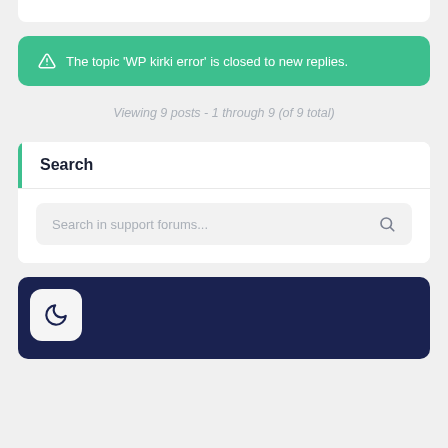The topic 'WP kirki error' is closed to new replies.
Viewing 9 posts - 1 through 9 (of 9 total)
Search
Search in support forums...
[Figure (screenshot): Dark navy blue section with a moon icon button in the bottom of the page]